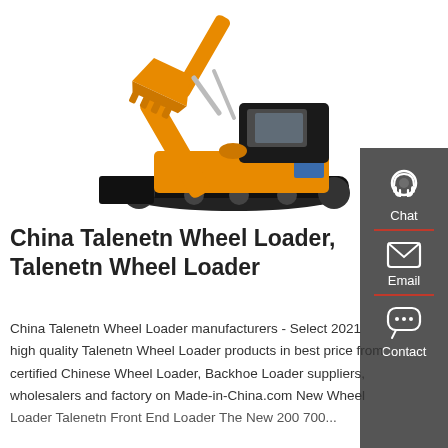[Figure (photo): Orange tracked excavator/crawler machine on white background]
China Talenetn Wheel Loader, Talenetn Wheel Loader
China Talenetn Wheel Loader manufacturers - Select 2021 high quality Talenetn Wheel Loader products in best price from certified Chinese Wheel Loader, Backhoe Loader suppliers, wholesalers and factory on Made-in-China.com New Wheel Loader Talenetn Front End Loader The New 200 700...